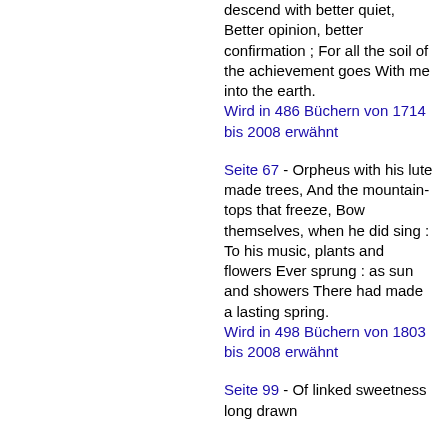descend with better quiet, Better opinion, better confirmation ; For all the soil of the achievement goes With me into the earth.
Wird in 486 Büchern von 1714 bis 2008 erwähnt
Seite 67 - Orpheus with his lute made trees, And the mountain-tops that freeze, Bow themselves, when he did sing : To his music, plants and flowers Ever sprung : as sun and showers There had made a lasting spring.
Wird in 498 Büchern von 1803 bis 2008 erwähnt
Seite 99 - Of linked sweetness long drawn